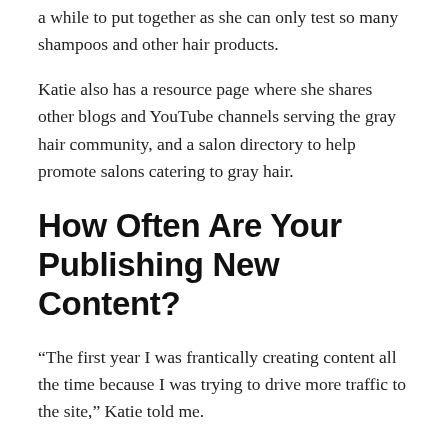a while to put together as she can only test so many shampoos and other hair products.
Katie also has a resource page where she shares other blogs and YouTube channels serving the gray hair community, and a salon directory to help promote salons catering to gray hair.
How Often Are Your Publishing New Content?
“The first year I was frantically creating content all the time because I was trying to drive more traffic to the site,” Katie told me.
In 2020, however, two significant things happened